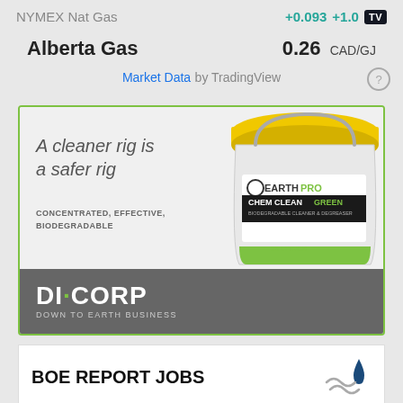NYMEX Nat Gas +0.093 +1.0
Alberta Gas 0.26 CAD/GJ
Market Data by TradingView
[Figure (illustration): DiCorp Earth Pro Chem Clean Green advertisement showing a white bucket with yellow lid and green label. Text: 'A cleaner rig is a safer rig', 'CONCENTRATED, EFFECTIVE, BIODEGRADABLE'. Bottom gray banner with DICORP logo and tagline 'DOWN TO EARTH BUSINESS'.]
BOE REPORT JOBS